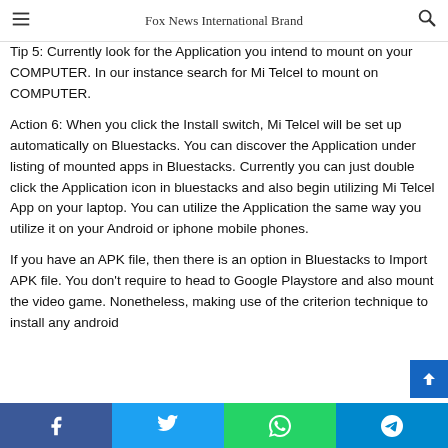Fox News International Brand
Tip 5: Currently look for the Application you intend to mount on your COMPUTER. In our instance search for Mi Telcel to mount on COMPUTER. Action 6: When you click the Install switch, Mi Telcel will be set up automatically on Bluestacks. You can discover the Application under listing of mounted apps in Bluestacks. Currently you can just double click the Application icon in bluestacks and also begin utilizing Mi Telcel App on your laptop. You can utilize the Application the same way you utilize it on your Android or iphone mobile phones.
If you have an APK file, then there is an option in Bluestacks to Import APK file. You don't require to head to Google Playstore and also mount the video game. Nonetheless, making use of the criterion technique to install any android
Facebook Twitter WhatsApp Telegram